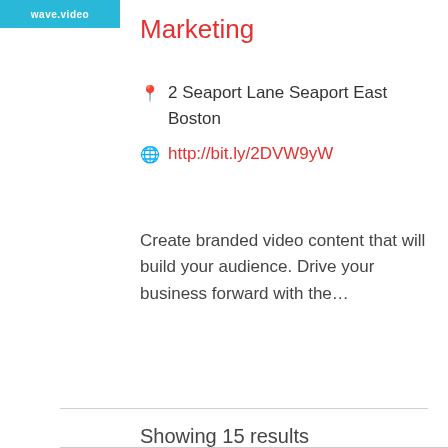[Figure (logo): wave.video logo on cyan/teal background]
Marketing
📍 2 Seaport Lane Seaport East Boston
🌐 http://bit.ly/2DVW9yW
Create branded video content that will build your audience. Drive your business forward with the...
Showing 15 results